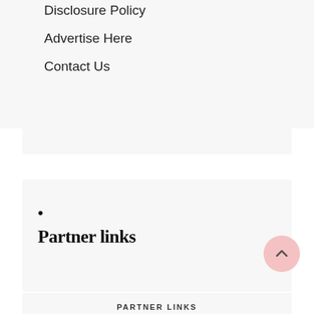Disclosure Policy
Advertise Here
Contact Us
Partner links
PARTNER LINKS